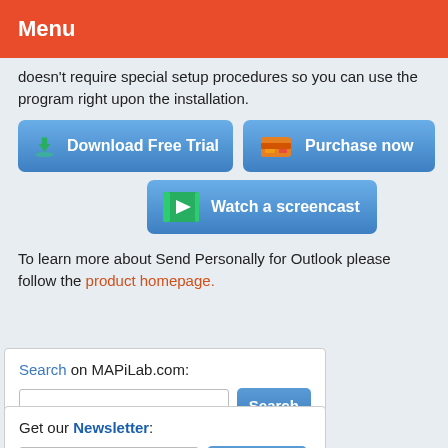Menu
doesn't require special setup procedures so you can use the program right upon the installation.
[Figure (screenshot): Three call-to-action buttons: 'Download Free Trial' (blue, with green download icon), 'Purchase now' (blue, with orange credit card icon), and 'Watch a screencast' (blue, with green play button icon)]
To learn more about Send Personally for Outlook please follow the product homepage.
Search on MAPiLab.com:
[Figure (screenshot): Search box with text input and blue Search button]
Get our Newsletter:
[Figure (screenshot): Newsletter signup with E-mail input and blue Subscribe button]